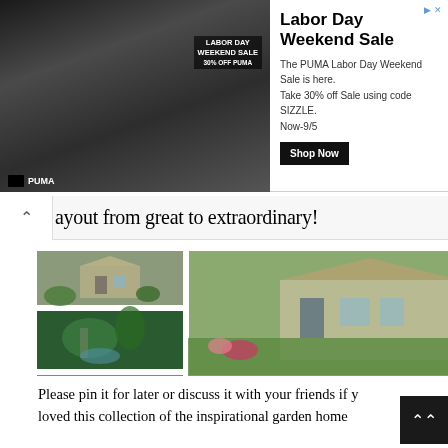[Figure (screenshot): PUMA Labor Day Weekend Sale advertisement banner with athlete photo, sale text, and Shop Now button]
ayout from great to extraordinary!
[Figure (photo): Collage of garden and home exterior photos including houses, gardens, vegetable beds, aerial yard views, and a 3D house model]
Please pin it for later or discuss it with your friends if y loved this collection of the inspirational garden home